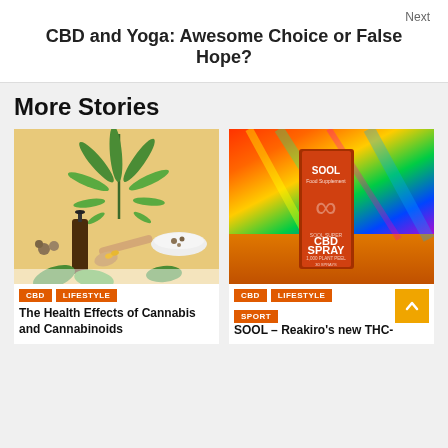Next
CBD and Yoga: Awesome Choice or False Hope?
More Stories
[Figure (photo): Cannabis leaf, CBD oil bottle, hemp seeds, and capsules on a yellow background]
CBD  LIFESTYLE
The Health Effects of Cannabis and Cannabinoids
[Figure (photo): SOOL CBD Spray product box with colorful rainbow background on orange surface]
CBD  LIFESTYLE  SPORT
SOOL – Reakiro's new THC-